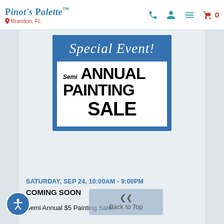Pinot's Palette — Brandon, FL
[Figure (illustration): Blue promotional event card reading 'Special Event! Semi Annual Painting Sale' with white handwritten script on blue background and bold black text on white inner card.]
SATURDAY, SEP 24, 10:00AM - 9:00PM
COMING SOON
Semi Annual $5 Painting Sale!